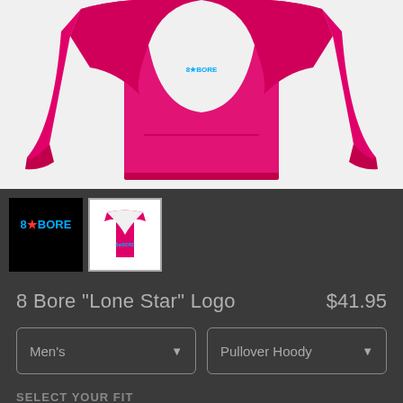[Figure (photo): Pink/hot pink pullover hoodie sweatshirt displayed flat, showing the full garment with hood and sleeves spread out]
[Figure (logo): 8 Bore logo thumbnail - black background with '8*BORE' text in blue]
[Figure (photo): Small thumbnail of the pink hoodie product]
8 Bore "Lone Star" Logo
$41.95
Men's
Pullover Hoody
SELECT YOUR FIT
$41.95
French Terry
$50.45
Sponge Fleece